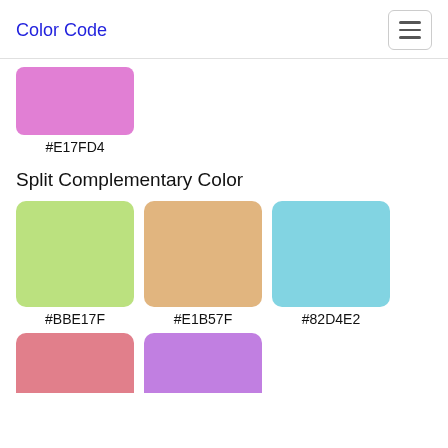Color Code
[Figure (illustration): Color swatch showing pink/orchid color #E17FD4]
#E17FD4
Split Complementary Color
[Figure (illustration): Color swatch showing light green #BBE17F]
#BBE17F
[Figure (illustration): Color swatch showing tan/khaki #E1B57F]
#E1B57F
[Figure (illustration): Color swatch showing light blue #82D4E2]
#82D4E2
[Figure (illustration): Color swatch showing pink #E17F8B (partial, bottom)]
[Figure (illustration): Color swatch showing orchid/lavender #C17FE1 (partial, bottom)]